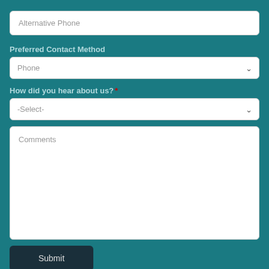Alternative Phone
Preferred Contact Method
Phone
How did you hear about us? *
-Select-
Comments
Submit